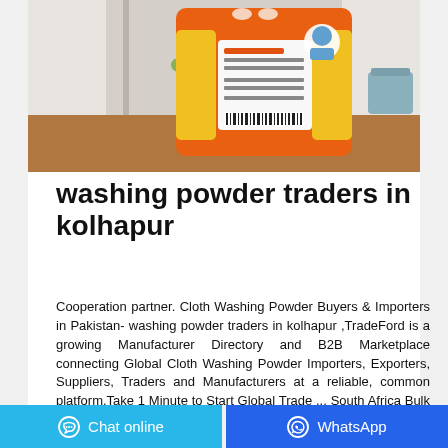[Figure (photo): Large orange washing powder bag with yellow label markings, placed on a wooden surface in a room with white curtains and a blue basket in the background]
washing powder traders in kolhapur
Cooperation partner. Cloth Washing Powder Buyers & Importers in Pakistan- washing powder traders in kolhapur ,TradeFord is a growing Manufacturer Directory and B2B Marketplace connecting Global Cloth Washing Powder Importers, Exporters, Suppliers, Traders and Manufacturers at a reliable, common platform.Take 1 Minute to Start Global Trade ... South Africa Bulk Washing Powder, South ...
Chat online   WhatsApp